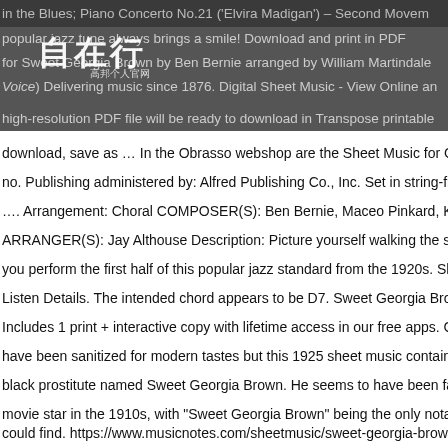in the Blues; Piano Concerto No.21 ('Elvira Madigan') – Second Movement
[Figure (other): Watermark overlay: Chinese characters '自在行' with subtitle '高邦个人官网' overlaid on dark background with partial text visible: 'popular jazz tune always brings a smile! Download and print in PDF', 'for Sweet Georgia Brown by Ben Bernie arranged by William Martindale', '(Voice) Delivering music since 1876. Digital Sheet Music - View Online an', 'high-resolution PDF file will be ready to download in Transpose printable']
download, save as … In the Obrasso webshop are the Sheet Music for C
no. Publishing administered by: Alfred Publishing Co., Inc. Set in string-fr
…. Arrangement: Choral COMPOSER(S): Ben Bernie, Maceo Pinkard, K
ARRANGER(S): Jay Althouse Description: Picture yourself walking the s
you perform the first half of this popular jazz standard from the 1920s. Sh
Listen Details. The intended chord appears to be D7. Sweet Georgia Bro
Includes 1 print + interactive copy with lifetime access in our free apps. C
have been sanitized for modern tastes but this 1925 sheet music contain
black prostitute named Sweet Georgia Brown. He seems to have been fa
movie star in the 1910s, with "Sweet Georgia Brown" being the only nota
could find. https://www.musicnotes.com/sheetmusic/sweet-georgia-brow
Brown, Sweet Georgia Brown, ... Print and download Sweet Georgia Bro